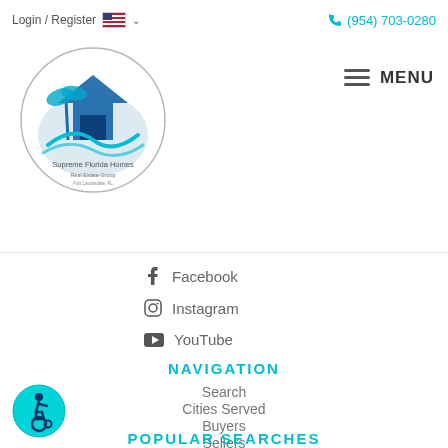Login / Register   (954) 703-0280
[Figure (logo): Supreme Florida Homes circular logo with palm tree and house graphic in blue tones]
MENU
Facebook
Instagram
YouTube
NAVIGATION
Search
Cities Served
Buyers
Sellers
About
Contact
POPULAR SEARCHES
[Figure (illustration): Accessibility wheelchair icon — cyan circle with wheelchair user symbol]